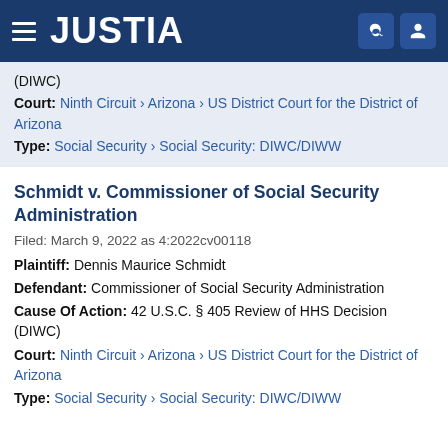JUSTIA
(DIWC)
Court: Ninth Circuit › Arizona › US District Court for the District of Arizona
Type: Social Security › Social Security: DIWC/DIWW
Schmidt v. Commissioner of Social Security Administration
Filed: March 9, 2022 as 4:2022cv00118
Plaintiff: Dennis Maurice Schmidt
Defendant: Commissioner of Social Security Administration
Cause Of Action: 42 U.S.C. § 405 Review of HHS Decision (DIWC)
Court: Ninth Circuit › Arizona › US District Court for the District of Arizona
Type: Social Security › Social Security: DIWC/DIWW